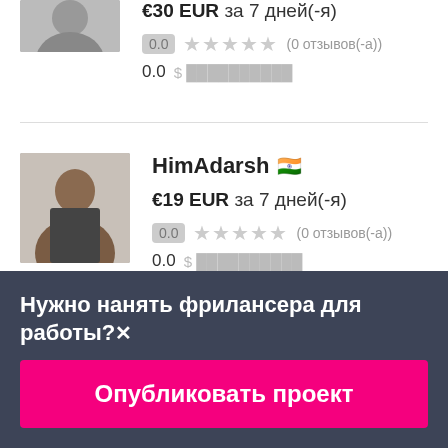€30 EUR за 7 дней(-я)
0.0 ★★★★★ (0 отзывов(-а))
0.0 $██████████
HimAdarsh 🇮🇳
€19 EUR за 7 дней(-я)
0.0 ★★★★★ (0 отзывов(-а))
0.0 $██████████
Нужно нанять фрилансера для работы?✕
Опубликовать проект